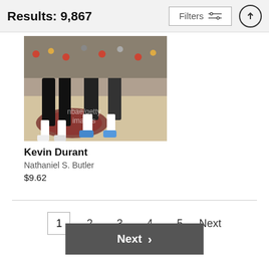Results: 9,867
[Figure (photo): Basketball action photo showing players' legs and feet on an NBA Finals court, with a watermark overlay reading 'nbae/getty images'. One player wears blue sneakers.]
Kevin Durant
Nathaniel S. Butler
$9.62
1  2  3  4  5  Next
Next >